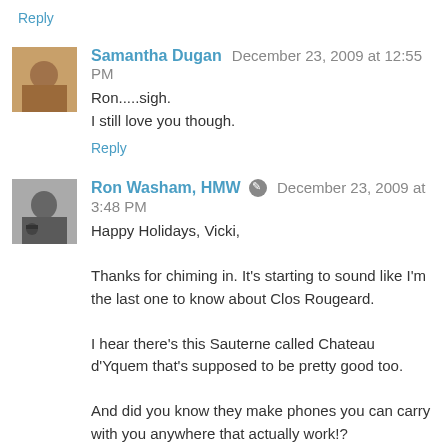Reply
Samantha Dugan  December 23, 2009 at 12:55 PM
Ron.....sigh.
I still love you though.
Reply
Ron Washam, HMW  December 23, 2009 at 3:48 PM
Happy Holidays, Vicki,

Thanks for chiming in. It's starting to sound like I'm the last one to know about Clos Rougeard.

I hear there's this Sauterne called Chateau d'Yquem that's supposed to be pretty good too.

And did you know they make phones you can carry with you anywhere that actually work!?